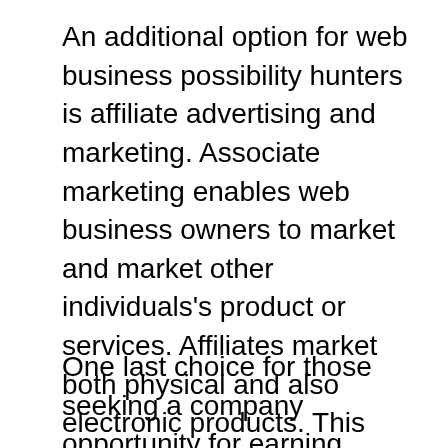An additional option for web business possibility hunters is affiliate advertising and marketing. Associate marketing enables web business owners to market and market other individuals's product or services. Affiliates market both physical and also electronic products. This sort of organization chance is expanding significantly with using the net by most net business owners. There are lots of well-established associate advertising and marketing programs available to entrepreneurs.
One last choice for those seeking a company opportunity for earning money is by joining scams that make you pay to get products and information. This kind of organization